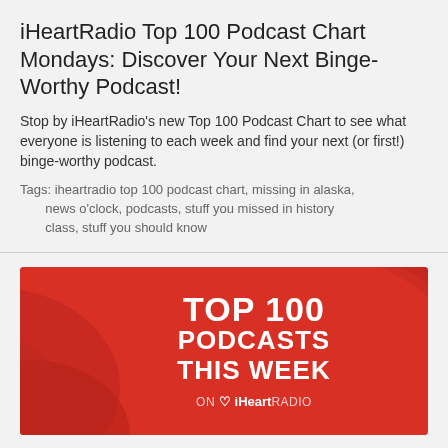iHeartRadio Top 100 Podcast Chart Mondays: Discover Your Next Binge-Worthy Podcast!
Stop by iHeartRadio's new Top 100 Podcast Chart to see what everyone is listening to each week and find your next (or first!) binge-worthy podcast.
Tags: iheartradio top 100 podcast chart, missing in alaska, news o'clock, podcasts, stuff you missed in history class, stuff you should know
[Figure (illustration): Red banner image with curved decorative swooshes on the left side, white bold text reading: TOP 100 PODCASTS THIS WEEK ON iHeartRADIO]
06.29.20
iHeartRadio Top 100 Podcast Chart